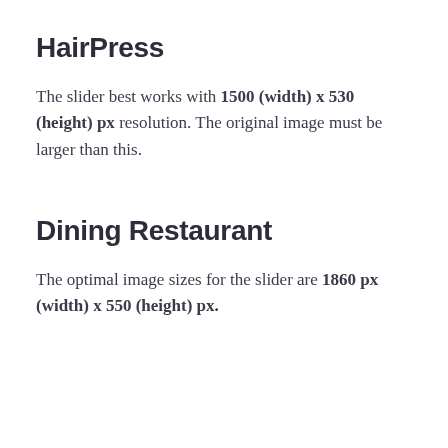HairPress
The slider best works with 1500 (width) x 530 (height) px resolution. The original image must be larger than this.
Dining Restaurant
The optimal image sizes for the slider are 1860 px (width) x 550 (height) px.